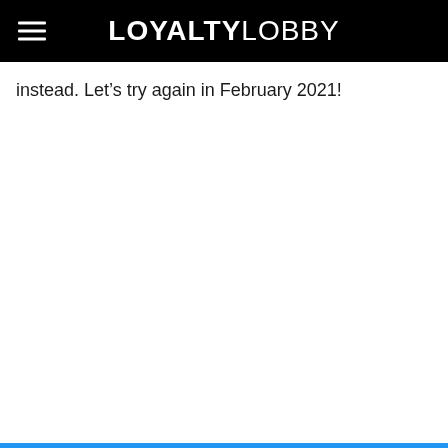LOYALTYLOBBY
instead. Let’s try again in February 2021!